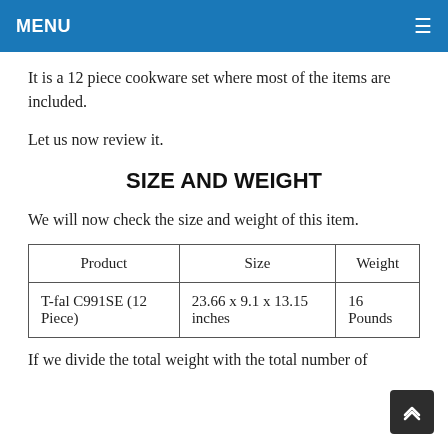MENU
It is a 12 piece cookware set where most of the items are included.
Let us now review it.
SIZE AND WEIGHT
We will now check the size and weight of this item.
| Product | Size | Weight |
| --- | --- | --- |
| T-fal C991SE (12 Piece) | 23.66 x 9.1 x 13.15 inches | 16 Pounds |
If we divide the total weight with the total number of